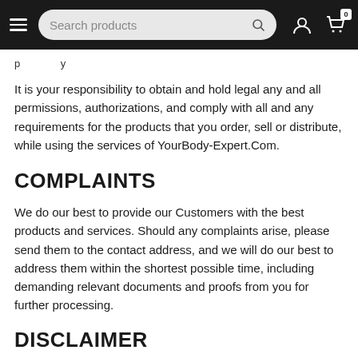[Figure (screenshot): Navigation bar with hamburger menu, search bar reading 'Search products', user icon, and cart icon with badge showing 0]
It is your responsibility to obtain and hold legal any and all permissions, authorizations, and comply with all and any requirements for the products that you order, sell or distribute, while using the services of YourBody-Expert.Com.
COMPLAINTS
We do our best to provide our Customers with the best products and services. Should any complaints arise, please send them to the contact address, and we will do our best to address them within the shortest possible time, including demanding relevant documents and proofs from you for further processing.
DISCLAIMER